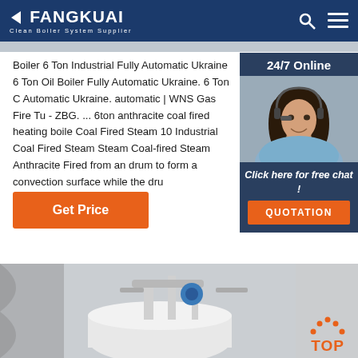FANGKUAI Clean Boiler System Supplier
Boiler 6 Ton Industrial Fully Automatic Ukraine 6 Ton Oil Boiler Fully Automatic Ukraine. 6 Ton Coal Automatic Ukraine. automatic | WNS Gas Fire Tu - ZBG. ... 6ton anthracite coal fired heating boile Coal Fired Steam 10 Industrial Coal Fired Steam Steam Coal-fired Steam Anthracite Fired from an drum to form a convection surface while the dru
[Figure (photo): Customer service representative with headset, sidebar panel with 24/7 Online label and QUOTATION button]
[Figure (photo): Industrial boiler equipment photograph, bottom section of page, with TOP badge in orange in bottom right corner]